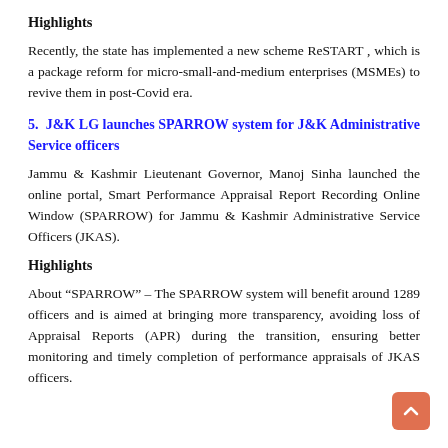Highlights
Recently, the state has implemented a new scheme ReSTART , which is a package reform for micro-small-and-medium enterprises (MSMEs) to revive them in post-Covid era.
5. J&K LG launches SPARROW system for J&K Administrative Service officers
Jammu & Kashmir Lieutenant Governor, Manoj Sinha launched the online portal, Smart Performance Appraisal Report Recording Online Window (SPARROW) for Jammu & Kashmir Administrative Service Officers (JKAS).
Highlights
About “SPARROW” – The SPARROW system will benefit around 1289 officers and is aimed at bringing more transparency, avoiding loss of Appraisal Reports (APR) during the transition, ensuring better monitoring and timely completion of performance appraisals of JKAS officers.